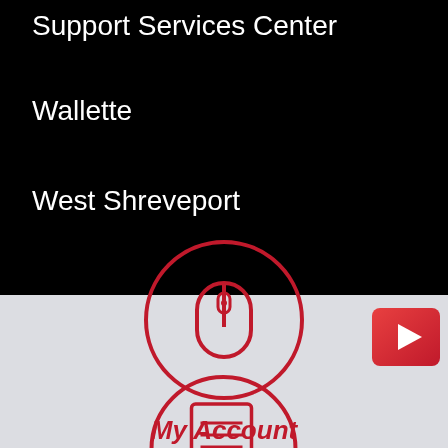Support Services Center
Wallette
West Shreveport
[Figure (illustration): Red play button icon on red rounded rectangle background]
[Figure (illustration): Red circle with mouse icon inside, representing My Account navigation]
My Account
[Figure (illustration): Red circle with document/clipboard icon inside, representing a menu item]